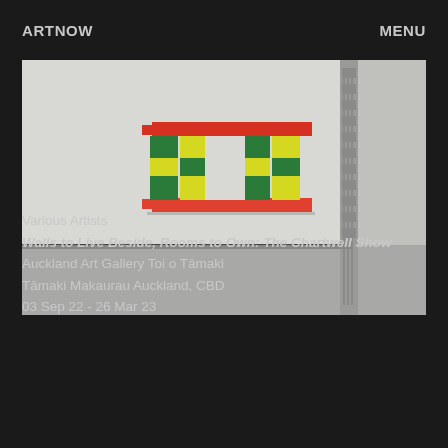ARTNOW   MENU
[Figure (photo): Gallery installation photo showing a colorful geometric wall sculpture with red horizontal bars, and alternating green and yellow square blocks arranged in a checkerboard-like pattern forming an open rectangle shape. The sculpture is mounted on a white gallery wall. The room has white walls, a gray floor, and a room divider on the right side with a textured glass or mesh edge.]
Various Artists
Walls to Live Beside, Rooms to Own: The Chartwell Show
Auckland Art Gallery Toi o Tāmaki
Tāmaki Makaurau Auckland, CBD
03 Sep 22 - 26 Mar 23